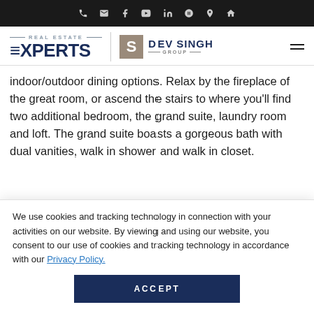Navigation bar with phone, email, Facebook, YouTube, LinkedIn, Zillow, Yelp, and home icons
[Figure (logo): Real Estate Experts logo with Dev Singh Group branding and hamburger menu]
indoor/outdoor dining options. Relax by the fireplace of the great room, or ascend the stairs to where you'll find two additional bedroom, the grand suite, laundry room and loft. The grand suite boasts a gorgeous bath with dual vanities, walk in shower and walk in closet.
We use cookies and tracking technology in connection with your activities on our website. By viewing and using our website, you consent to our use of cookies and tracking technology in accordance with our Privacy Policy.
ACCEPT